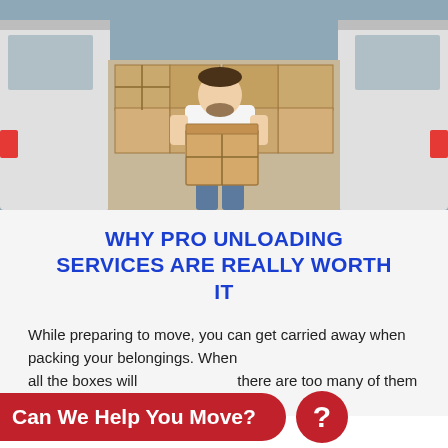[Figure (photo): A man in a white t-shirt and jeans holding a large cardboard box, standing at the rear of a moving van filled with stacked cardboard boxes. Another van is visible on the right side.]
WHY PRO UNLOADING SERVICES ARE REALLY WORTH IT
While preparing to move, you can get carried away when packing your belongings. When ar all the boxes will e there are too many of them or they're too
[Figure (infographic): Red pill-shaped banner reading 'Can We Help You Move?' with a red circle containing a white question mark on the right side.]